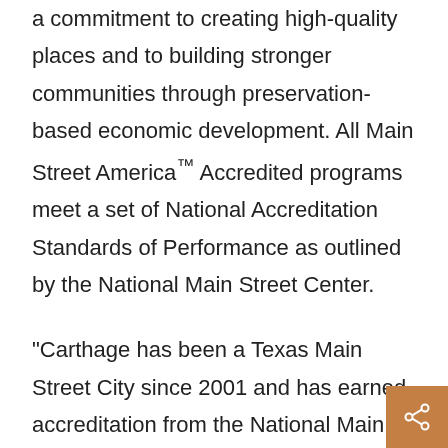a commitment to creating high-quality places and to building stronger communities through preservation-based economic development. All Main Street America™ Accredited programs meet a set of National Accreditation Standards of Performance as outlined by the National Main Street Center.
"Carthage has been a Texas Main Street City since 2001 and has earned accreditation from the National Main Street Center every year since, something that I'm extremely proud of," said Carthage Main Street Manager Cindy Deloney. "This means that we are doing things right, that we are going in the right direction